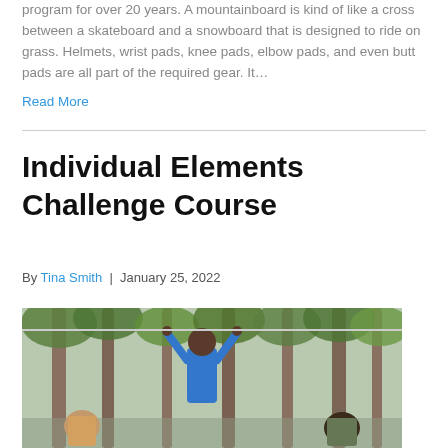program for over 20 years. A mountainboard is kind of like a cross between a skateboard and a snowboard that is designed to ride on grass. Helmets, wrist pads, knee pads, elbow pads, and even butt pads are all part of the required gear. It…
Read More
Individual Elements Challenge Course
By Tina Smith | January 25, 2022
[Figure (photo): Children on an outdoor challenge course in a wooded area. A child in a blue shirt is reaching up to grab ropes/handles while other children are visible around them.]